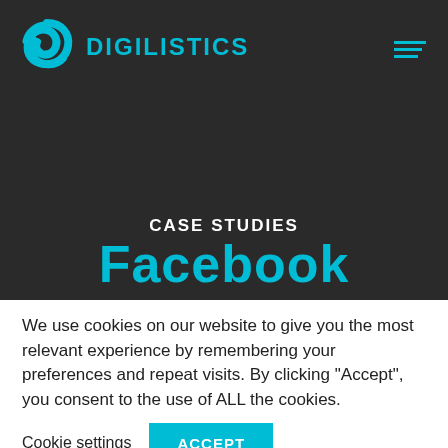[Figure (logo): Digilistics logo with teal swirl icon and teal bold text reading DIGILISTICS, plus hamburger menu icon top right]
CASE STUDIES
Facebook
We use cookies on our website to give you the most relevant experience by remembering your preferences and repeat visits. By clicking “Accept”, you consent to the use of ALL the cookies.
Cookie settings | ACCEPT